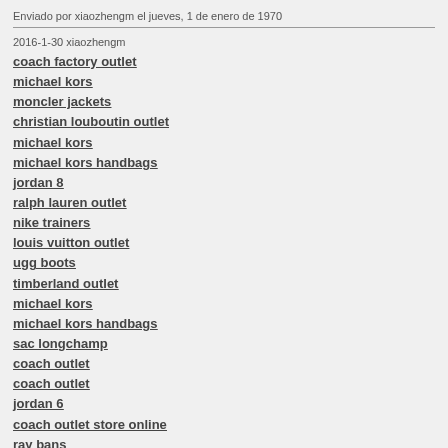Enviado por xiaozhengm el jueves, 1 de enero de 1970
2016-1-30 xiaozhengm
coach factory outlet
michael kors
moncler jackets
christian louboutin outlet
michael kors
michael kors handbags
jordan 8
ralph lauren outlet
nike trainers
louis vuitton outlet
ugg boots
timberland outlet
michael kors
michael kors handbags
sac longchamp
coach outlet
coach outlet
jordan 6
coach outlet store online
ray bans
canada goose outlet
louis vuitton outlet
ugg outlet